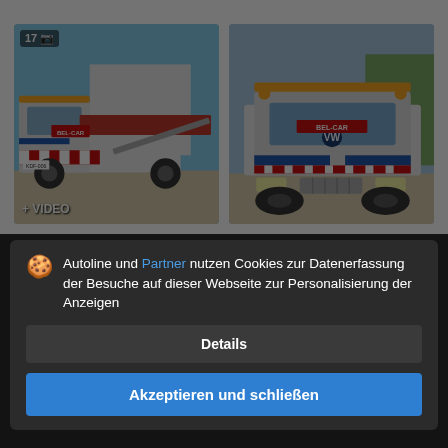[Figure (photo): Two photos of a Volkswagen LT tow truck (Abschleppwagen) with sliding platform, white with red/blue stripes, labeled BEL-CAR. Left photo shows side view with sliding ramp deployed, right photo shows front/side view. Left photo has badge '17' with camera icon and '+ VIDEO' label at bottom left.]
VOLKSWAGEN LT 55 Sliding Platform + Winch + Special...
6.000 €
Abschlepp...
Federung...
Jahr: 1988 · 65 UI · km: 123.45 mi
? Niederlande, Boissele
Autoline und Partner nutzen Cookies zur Datenerfassung der Besuche auf dieser Webseite zur Personalisierung der Anzeigen
Details
Akzeptieren und schließen